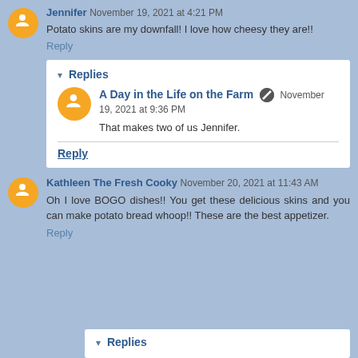Jennifer November 19, 2021 at 4:21 PM
Potato skins are my downfall! I love how cheesy they are!!
Reply
Replies
A Day in the Life on the Farm November 19, 2021 at 9:36 PM
That makes two of us Jennifer.
Reply
Kathleen The Fresh Cooky November 20, 2021 at 11:43 AM
Oh I love BOGO dishes!! You get these delicious skins and you can make potato bread whoop!! These are the best appetizer.
Reply